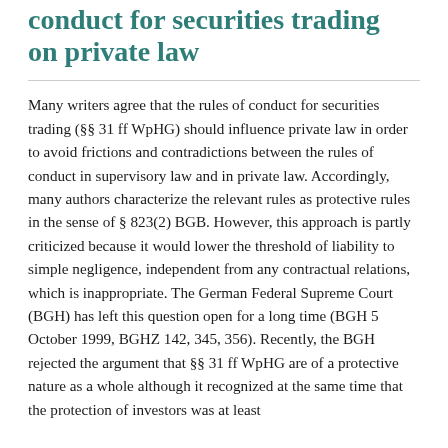conduct for securities trading on private law
Many writers agree that the rules of conduct for securities trading (§§ 31 ff WpHG) should influence private law in order to avoid frictions and contradictions between the rules of conduct in supervisory law and in private law. Accordingly, many authors characterize the relevant rules as protective rules in the sense of § 823(2) BGB. However, this approach is partly criticized because it would lower the threshold of liability to simple negligence, independent from any contractual relations, which is inappropriate. The German Federal Supreme Court (BGH) has left this question open for a long time (BGH 5 October 1999, BGHZ 142, 345, 356). Recently, the BGH rejected the argument that §§ 31 ff WpHG are of a protective nature as a whole although it recognized at the same time that the protection of investors was at least